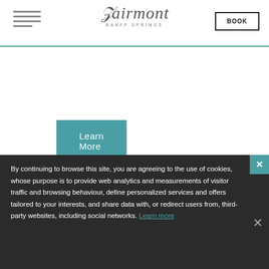Fairmont Banff Springs — BOOK
Learn More
By continuing to browse this site, you are agreeing to the use of cookies, whose purpose is to provide web analytics and measurements of visitor traffic and browsing behaviour, define personalized services and offers tailored to your interests, and share data with, or redirect users from, third-party websites, including social networks. Learn more